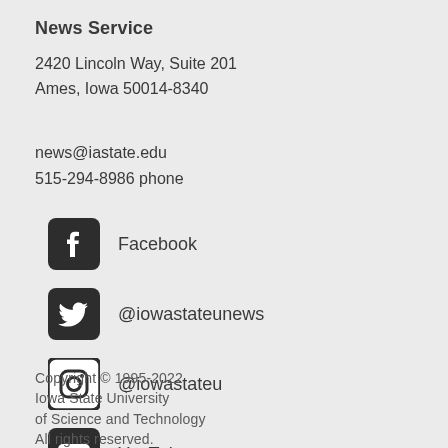News Service
2420 Lincoln Way, Suite 201
Ames, Iowa 50014-8340
news@iastate.edu
515-294-8986 phone
Facebook
@iowastateunews
@iowastateu
YouTube
Copyright © 1995-2022
Iowa State University
of Science and Technology
All rights reserved.